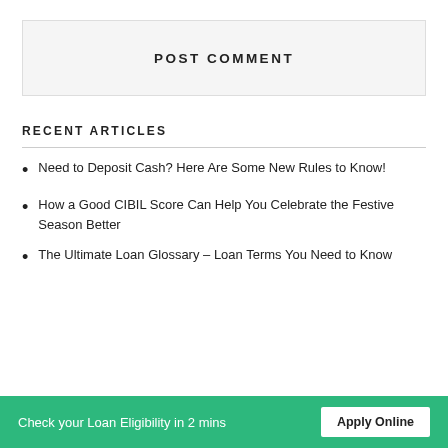POST COMMENT
RECENT ARTICLES
Need to Deposit Cash? Here Are Some New Rules to Know!
How a Good CIBIL Score Can Help You Celebrate the Festive Season Better
The Ultimate Loan Glossary – Loan Terms You Need to Know
Check your Loan Eligibility in 2 mins  Apply Online